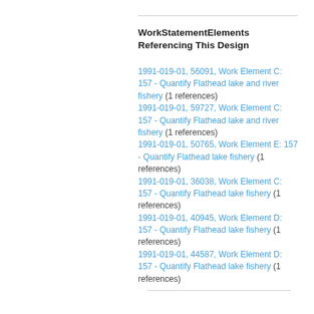WorkStatementElements Referencing This Design
1991-019-01, 56091, Work Element C: 157 - Quantify Flathead lake and river fishery (1 references)
1991-019-01, 59727, Work Element C: 157 - Quantify Flathead lake and river fishery (1 references)
1991-019-01, 50765, Work Element E: 157 - Quantify Flathead lake fishery (1 references)
1991-019-01, 36038, Work Element C: 157 - Quantify Flathead lake fishery (1 references)
1991-019-01, 40945, Work Element D: 157 - Quantify Flathead lake fishery (1 references)
1991-019-01, 44587, Work Element D: 157 - Quantify Flathead lake fishery (1 references)